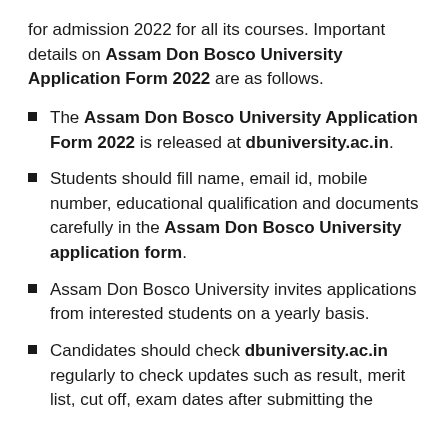for admission 2022 for all its courses. Important details on Assam Don Bosco University Application Form 2022 are as follows.
The Assam Don Bosco University Application Form 2022 is released at dbuniversity.ac.in.
Students should fill name, email id, mobile number, educational qualification and documents carefully in the Assam Don Bosco University application form.
Assam Don Bosco University invites applications from interested students on a yearly basis.
Candidates should check dbuniversity.ac.in regularly to check updates such as result, merit list, cut off, exam dates after submitting the